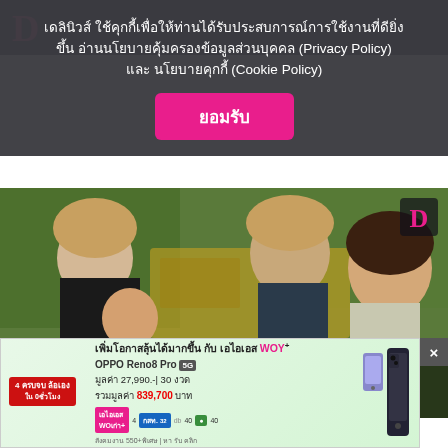เดลินิวส์ ใช้คุกกี้เพื่อให้ท่านได้รับประสบการณ์การใช้งานที่ดียิ่งขึ้น อ่านนโยบายคุ้มครองข้อมูลส่วนบุคคล (Privacy Policy) และ นโยบายคุกกี้ (Cookie Policy)
ยอมรับ
[Figure (photo): Group photo of people including two curly-haired Western men and a young Thai woman, outdoors with a vehicle visible in background. Bold Thai text overlaid at bottom: ปัญหาเรื่องบนเตียง!]
[Figure (infographic): Advertisement banner for AIS WOW+ and OPPO Reno8 Pro 5G phone. Shows phone images, price 27,990 baht, installment 30 installments, total value 839,700 baht. Green gradient background with carrier logos.]